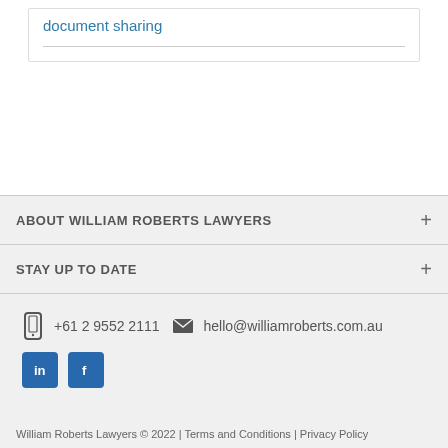document sharing
ABOUT WILLIAM ROBERTS LAWYERS
STAY UP TO DATE
+61 2 9552 2111   hello@williamroberts.com.au
William Roberts Lawyers © 2022 | Terms and Conditions | Privacy Policy